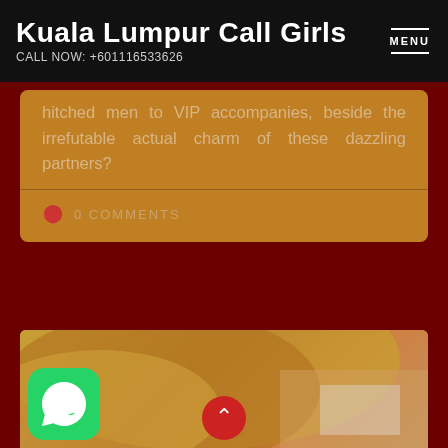Kuala Lumpur Call Girls
CALL NOW: +601116533626
hitched men to VIP accompanies, beside the irrefutable actual charm of these dazzling partners?
0 COMMENTS
[Figure (photo): Photo of a person with blonde hair, with a WhatsApp icon overlay in the bottom left and a red scroll-to-top button at the bottom center.]